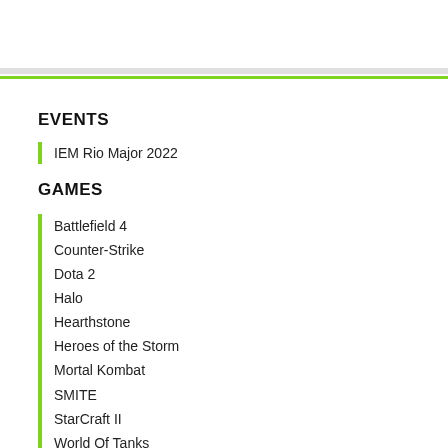EVENTS
IEM Rio Major 2022
GAMES
Battlefield 4
Counter-Strike
Dota 2
Halo
Hearthstone
Heroes of the Storm
Mortal Kombat
SMITE
StarCraft II
World Of Tanks